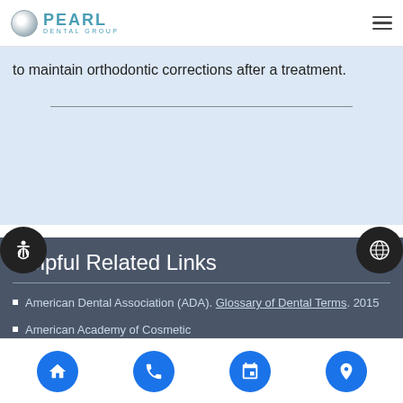Pearl Dental Group
to maintain orthodontic corrections after a treatment.
Helpful Related Links
American Dental Association (ADA). Glossary of Dental Terms. 2015
American Academy of Cosmetic